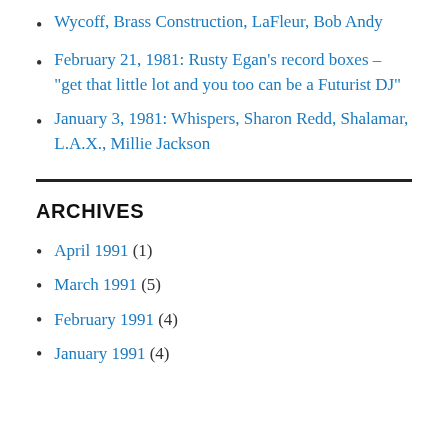Wycoff, Brass Construction, LaFleur, Bob Andy
February 21, 1981: Rusty Egan's record boxes – "get that little lot and you too can be a Futurist DJ"
January 3, 1981: Whispers, Sharon Redd, Shalamar, L.A.X., Millie Jackson
ARCHIVES
April 1991 (1)
March 1991 (5)
February 1991 (4)
January 1991 (4)